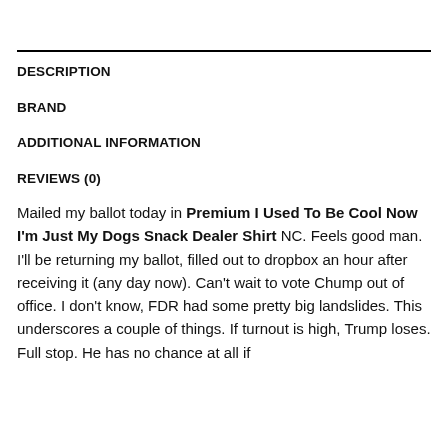DESCRIPTION
BRAND
ADDITIONAL INFORMATION
REVIEWS (0)
Mailed my ballot today in Premium I Used To Be Cool Now I'm Just My Dogs Snack Dealer Shirt NC. Feels good man. I'll be returning my ballot, filled out to dropbox an hour after receiving it (any day now). Can't wait to vote Chump out of office. I don't know, FDR had some pretty big landslides. This underscores a couple of things. If turnout is high, Trump loses. Full stop. He has no chance at all if